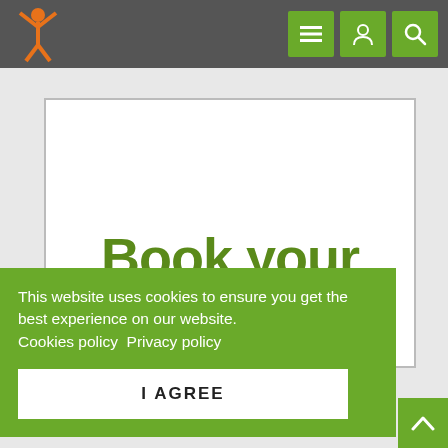[Figure (logo): Website logo: orange stick figure with arms raised in a Y shape]
[Figure (screenshot): Navigation icons: hamburger menu, user profile, and search icons in green buttons]
Book your workshop today!
This website uses cookies to ensure you get the best experience on our website. Cookies policy  Privacy policy
I AGREE